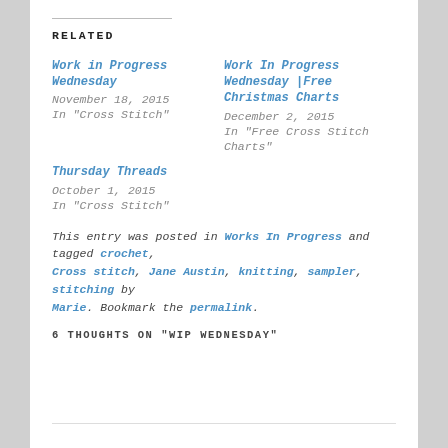RELATED
Work in Progress Wednesday
November 18, 2015
In "Cross Stitch"
Work In Progress Wednesday |Free Christmas Charts
December 2, 2015
In "Free Cross Stitch Charts"
Thursday Threads
October 1, 2015
In "Cross Stitch"
This entry was posted in Works In Progress and tagged crochet, Cross stitch, Jane Austin, knitting, sampler, stitching by Marie. Bookmark the permalink.
6 THOUGHTS ON "WIP WEDNESDAY"